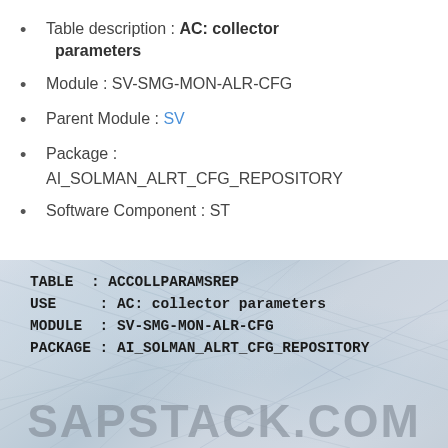Table description : AC: collector parameters
Module : SV-SMG-MON-ALR-CFG
Parent Module : SV
Package : AI_SOLMAN_ALRT_CFG_REPOSITORY
Software Component : ST
[Figure (screenshot): Screenshot showing table metadata: TABLE: ACCOLLPARAMSREP, USE: AC: collector parameters, MODULE: SV-SMG-MON-ALR-CFG, PACKAGE: AI_SOLMAN_ALRT_CFG_REPOSITORY, with SAPSTACK.COM watermark on textured background]